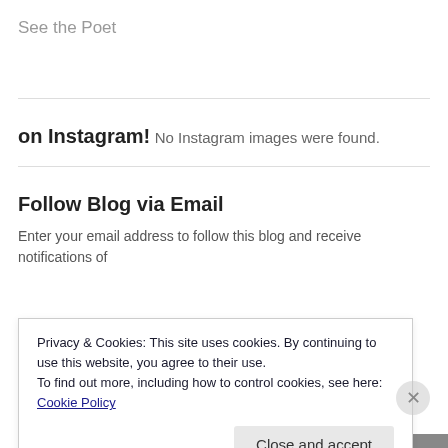See the Poet
on Instagram!
No Instagram images were found.
Follow Blog via Email
Enter your email address to follow this blog and receive notifications of
Privacy & Cookies: This site uses cookies. By continuing to use this website, you agree to their use.
To find out more, including how to control cookies, see here: Cookie Policy
Close and accept